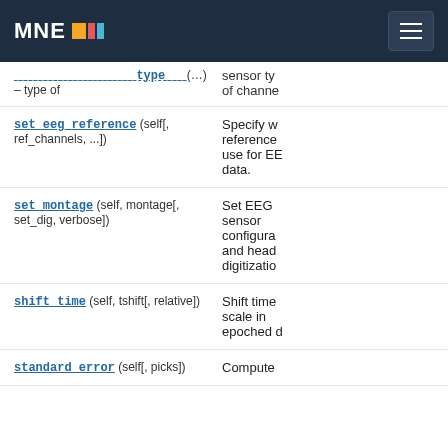MNE
...type(...) – type of channel
| Method | Description |
| --- | --- |
| set_eeg_reference (self[, ref_channels, ...]) | Specify which reference to use for EEG data. |
| set_montage (self, montage[, set_dig, verbose]) | Set EEG sensor configuration and head digitization |
| shift_time (self, tshift[, relative]) | Shift time scale in epoched d... |
| standard_error (self[, picks]) | Compute... |